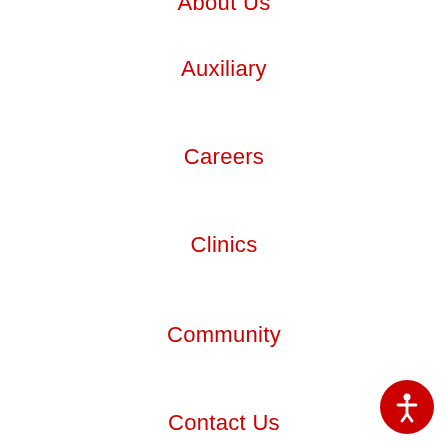About Us (partial, cropped)
Auxiliary
Careers
Clinics
Community
Contact Us
CHNA Report
Map & Directions
Medical Services
Patient Information
Patient Portal
Pay Your Bill Online
Pharmacy